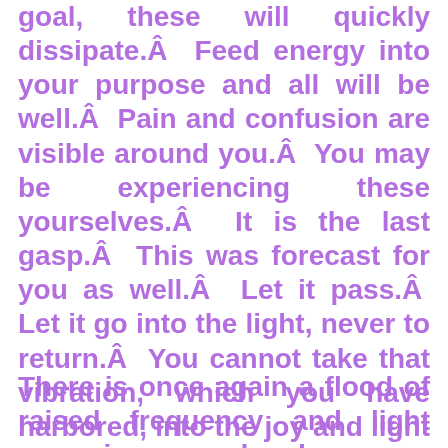goal, these will quickly dissipate.Â  Feed energy into your purpose and all will be well.Â  Pain and confusion are visible around you.Â  You may be experiencing these yourselves.Â  It is the last gasp.Â  This was forecast for you as well.Â  Let it pass.Â  Let it go into the light, never to return.Â  You cannot take that vibration, which you have harbored, into the joy and light which is your immanent destination. Release it now.Â  You know how to do this.Â  Do not blame yourself.Â  Just release it.
There is once again a flood of raised frequency and light sweeping around and